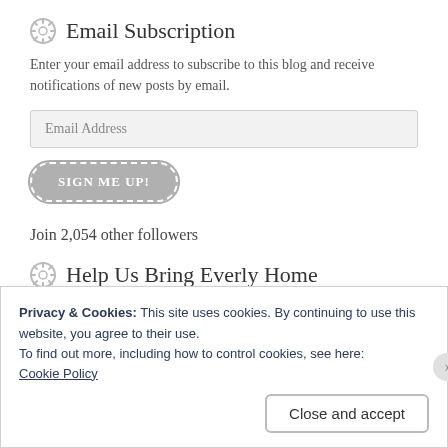Email Subscription
Enter your email address to subscribe to this blog and receive notifications of new posts by email.
[Figure (other): Email address input field with placeholder text 'Email Address']
[Figure (other): Button labeled 'SIGN ME UP!' with rounded dashed border on gray background]
Join 2,054 other followers
Help Us Bring Everly Home
Privacy & Cookies: This site uses cookies. By continuing to use this website, you agree to their use.
To find out more, including how to control cookies, see here:
Cookie Policy
[Figure (other): Close and accept button in cookie banner]